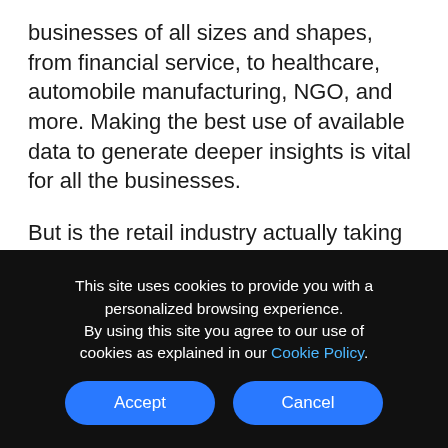businesses of all sizes and shapes, from financial service, to healthcare, automobile manufacturing, NGO, and more. Making the best use of available data to generate deeper insights is vital for all the businesses.
But is the retail industry actually taking advantage of data analytics?
Retail streams a massive volume of data across their supply chain and at diverse customer touch points across omnichannel operations. Besides, digital
This site uses cookies to provide you with a personalized browsing experience. By using this site you agree to our use of cookies as explained in our Cookie Policy.
Accept
Cancel